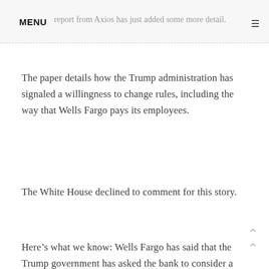MENU  report from Axios has just added some more detail.
The paper details how the Trump administration has signaled a willingness to change rules, including the way that Wells Fargo pays its employees.
The White House declined to comment for this story.
Here’s what we know: Wells Fargo has said that the Trump government has asked the bank to consider a